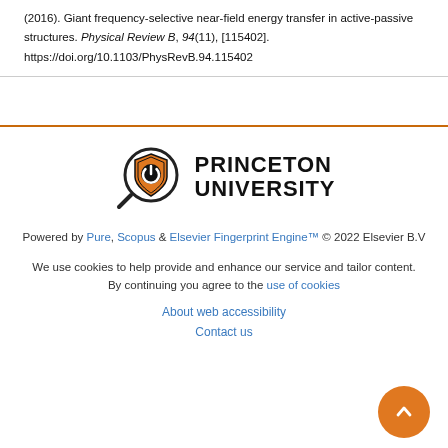(2016). Giant frequency-selective near-field energy transfer in active-passive structures. Physical Review B, 94(11), [115402]. https://doi.org/10.1103/PhysRevB.94.115402
[Figure (logo): Princeton University logo with magnifying glass icon and text PRINCETON UNIVERSITY]
Powered by Pure, Scopus & Elsevier Fingerprint Engine™ © 2022 Elsevier B.V
We use cookies to help provide and enhance our service and tailor content. By continuing you agree to the use of cookies
About web accessibility
Contact us